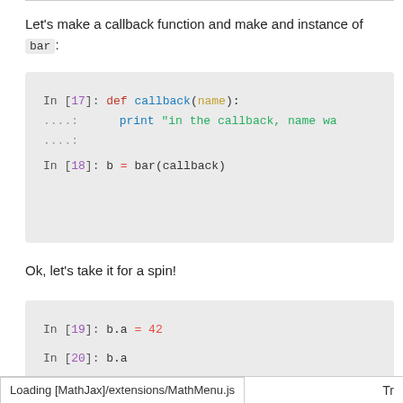Let's make a callback function and make and instance of bar:
[Figure (screenshot): Jupyter notebook code cell showing: In [17]: def callback(name): .....:     print "in the callback, name wa .....: (blank) In [18]: b = bar(callback)]
Ok, let's take it for a spin!
[Figure (screenshot): Jupyter notebook code cell showing: In [19]: b.a = 42   In [20]: b.a followed by a dashed line]
Loading [MathJax]/extensions/MathMenu.js    Tr